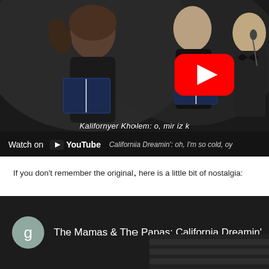[Figure (screenshot): YouTube video thumbnail showing a choir performing on stage, singing in black attire. A red YouTube play button is visible in the upper right area. At the bottom of the thumbnail is a 'Watch on YouTube' bar with subtitle text 'Kalifornyer Kholem: o, mir iz k...' and 'California Dreamin': oh, I'm so cold, oy'.]
If you don't remember the original, here is a little bit of nostalgia:
[Figure (screenshot): YouTube video embed thumbnail showing a dark background with a gray avatar circle containing the letter 'g' and the title 'The Mamas & The Papas: California Dreamin'']